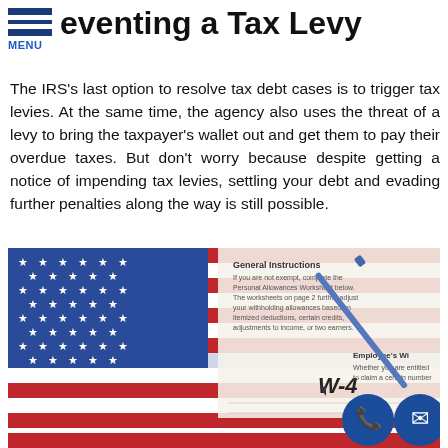eventing a Tax Levy
The IRS's last option to resolve tax debt cases is to trigger tax levies. At the same time, the agency also uses the threat of a levy to bring the taxpayer's wallet out and get them to pay their overdue taxes. But don't worry because despite getting a notice of impending tax levies, settling your debt and evading further penalties along the way is still possible.
[Figure (photo): American flag with a blue pen resting on IRS tax forms including a W-4 Employee's Withholding form, with two circular contact icons (phone and email) in the bottom right corner.]